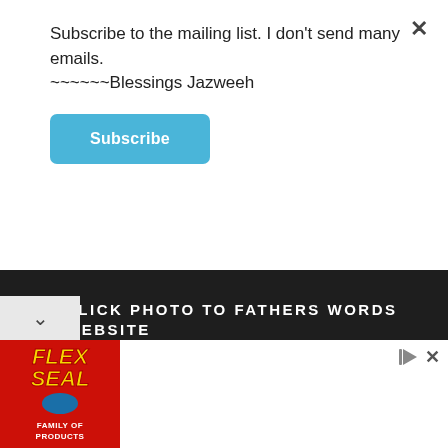Subscribe to the mailing list. I don't send many emails.
~~~~~~Blessings Jazweeh
Subscribe
CLICK PHOTO TO FATHERS WORDS WEBSITE
Read the prophecy of the EMPCOE
[Figure (screenshot): Flex Seal Family of Products advertisement banner at the bottom of the page]
×